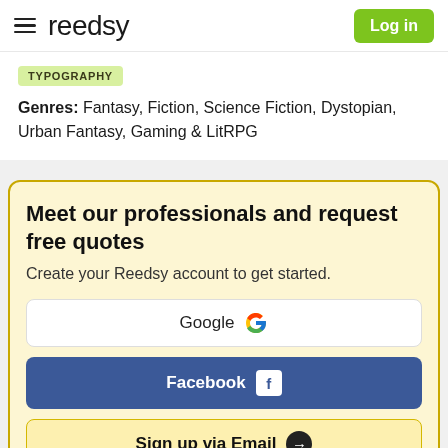reedsy — Log in
TYPOGRAPHY
Genres: Fantasy, Fiction, Science Fiction, Dystopian, Urban Fantasy, Gaming & LitRPG
Meet our professionals and request free quotes
Create your Reedsy account to get started.
Google
Facebook
Sign up via Email →